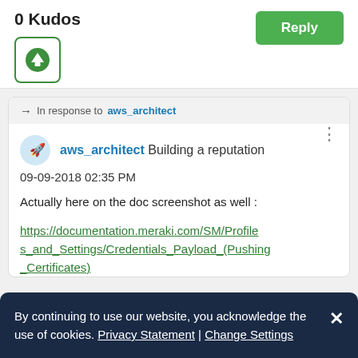0 Kudos
[Figure (screenshot): Green upvote arrow icon in a rounded square border]
[Figure (screenshot): Green Reply button]
In response to aws_architect
aws_architect Building a reputation
09-09-2018 02:35 PM
Actually here on the doc screenshot as well :
https://documentation.meraki.com/SM/Profiles_and_Settings/Credentials_Payload_(Pushing_Certificates)
By continuing to use our website, you acknowledge the use of cookies. Privacy Statement | Change Settings